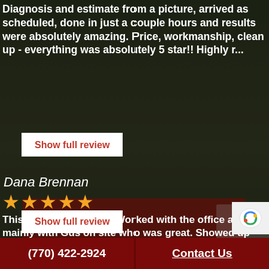Diagnosis and estimate from a picture, arrived as scheduled, done in just a couple hours and results were absolutely amazing. Price, workmanship, clean up - everything was absolutely 5 star!! Highly r...
Show full review
Dana Brennan
[Figure (other): Five gold star rating icons]
This crew is top notch. Worked with the office and mainly with Gus on site who was great. Showed up early, super knowledgeable, tons of experience. We really felt served in the way he recommended o...
Show full review
[Figure (photo): Background photo of a Gus's foundation repair truck with company branding, parked outdoors]
(770) 422-2924    Contact Us